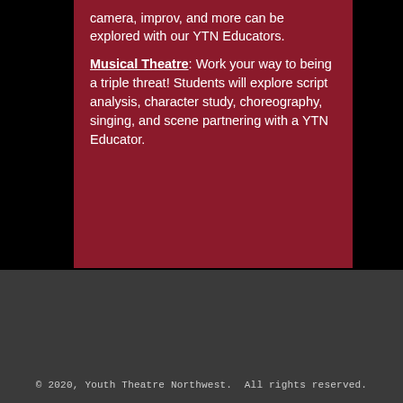camera, improv, and more can be explored with our YTN Educators.
Musical Theatre: Work your way to being a triple threat! Students will explore script analysis, character study, choreography, singing, and scene partnering with a YTN Educator.
© 2020, Youth Theatre Northwest. All rights reserved.